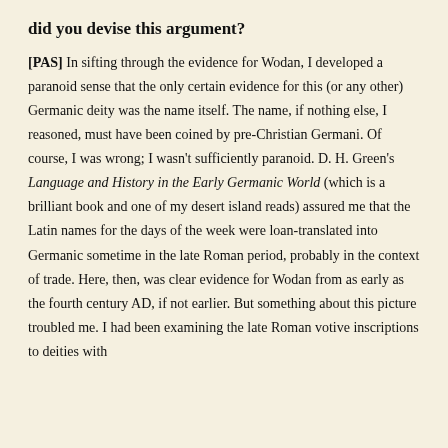did you devise this argument?
[PAS] In sifting through the evidence for Wodan, I developed a paranoid sense that the only certain evidence for this (or any other) Germanic deity was the name itself. The name, if nothing else, I reasoned, must have been coined by pre-Christian Germani. Of course, I was wrong; I wasn't sufficiently paranoid. D. H. Green's Language and History in the Early Germanic World (which is a brilliant book and one of my desert island reads) assured me that the Latin names for the days of the week were loan-translated into Germanic sometime in the late Roman period, probably in the context of trade. Here, then, was clear evidence for Wodan from as early as the fourth century AD, if not earlier. But something about this picture troubled me. I had been examining the late Roman votive inscriptions to deities with